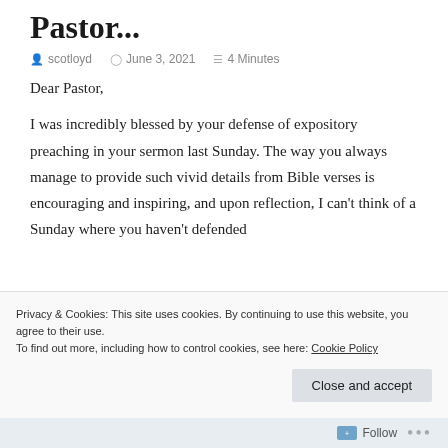Pastor...
scotloyd   June 3, 2021   4 Minutes
Dear Pastor,
I was incredibly blessed by your defense of expository preaching in your sermon last Sunday. The way you always manage to provide such vivid details from Bible verses is encouraging and inspiring, and upon reflection, I can't think of a Sunday where you haven't defended
Privacy & Cookies: This site uses cookies. By continuing to use this website, you agree to their use.
To find out more, including how to control cookies, see here: Cookie Policy
Close and accept